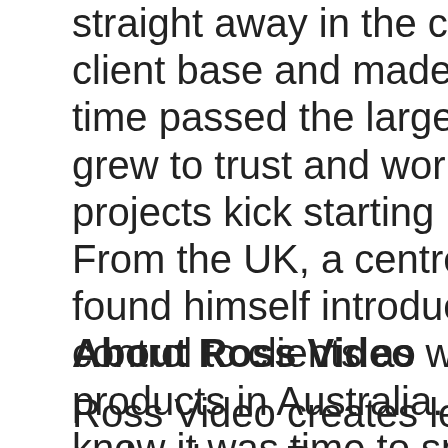straight away in the concert industry. D client base and made many friends in b time passed the larger organizations in grew to trust and work closely with him projects kick starting his career. From the UK, a centre for industry tech found himself introducing a lot of new s control to clients as well as finding a lo products in Australia. The AV industry g knew it was time to spread his wings a Milestone Media Group Pty Ltd opened
About Ross Video
Ross Video creates leading edge video technology. Ross products are used in c